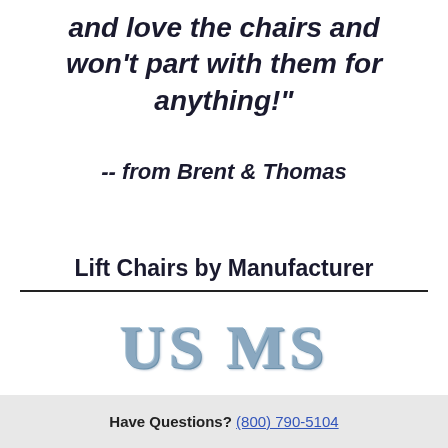and love the chairs and won't part with them for anything!"
-- from Brent & Thomas
Lift Chairs by Manufacturer
[Figure (logo): US MS logo in large serif bold letters with steel-blue metallic styling]
Have Questions? (800) 790-5104